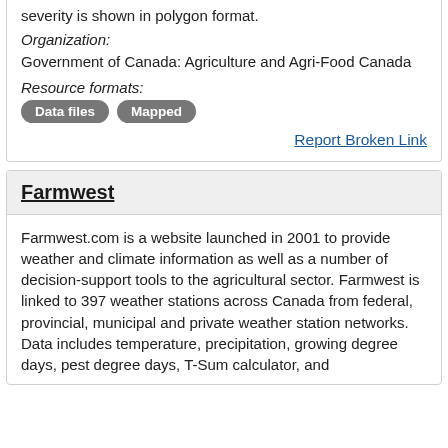severity is shown in polygon format.
Organization:
Government of Canada: Agriculture and Agri-Food Canada
Resource formats:
Data files
Mapped
Report Broken Link
Farmwest
Farmwest.com is a website launched in 2001 to provide weather and climate information as well as a number of decision-support tools to the agricultural sector. Farmwest is linked to 397 weather stations across Canada from federal, provincial, municipal and private weather station networks. Data includes temperature, precipitation, growing degree days, pest degree days, T-Sum calculator, and